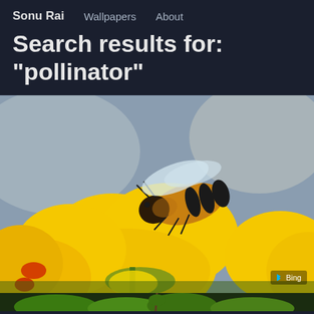Sonu Rai   Wallpapers   About
Search results for: "pollinator"
[Figure (photo): Close-up macro photograph of a honey bee on bright yellow flowers, with a blurred green and grey background. Bing watermark in the lower right corner.]
[Figure (photo): Bottom strip showing green foliage/plants, partially visible.]